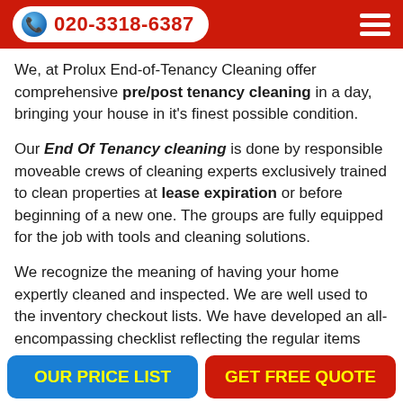020-3318-6387
We, at Prolux End-of-Tenancy Cleaning offer comprehensive pre/post tenancy cleaning in a day, bringing your house in it's finest possible condition.
Our End Of Tenancy cleaning is done by responsible moveable crews of cleaning experts exclusively trained to clean properties at lease expiration or before beginning of a new one. The groups are fully equipped for the job with tools and cleaning solutions.
We recognize the meaning of having your home expertly cleaned and inspected. We are well used to the inventory checkout lists. We have developed an all-encompassing checklist reflecting the regular items required by major Earls Court SW10, SW5 and Kensington and Chelsea rental
OUR PRICE LIST | GET FREE QUOTE